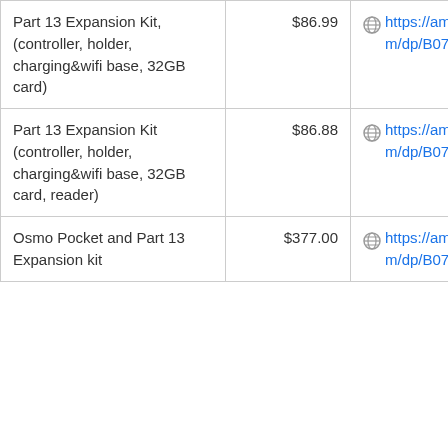| Part 13 Expansion Kit, (controller, holder, charging&wifi base, 32GB card) | $86.99 | https://amazon.com/dp/B07 |
| Part 13 Expansion Kit (controller, holder, charging&wifi base, 32GB card, reader) | $86.88 | https://amazon.com/dp/B07 |
| Osmo Pocket and Part 13 Expansion kit | $377.00 | https://amazon.com/dp/B07 |